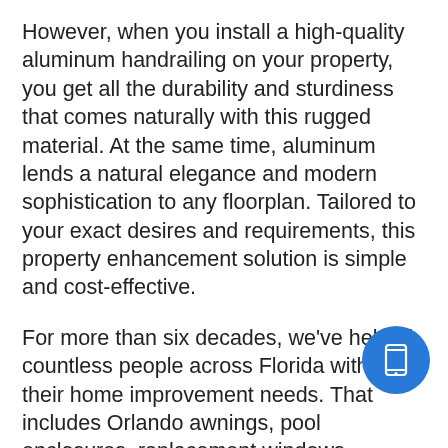However, when you install a high-quality aluminum handrailing on your property, you get all the durability and sturdiness that comes naturally with this rugged material. At the same time, aluminum lends a natural elegance and modern sophistication to any floorplan. Tailored to your exact desires and requirements, this property enhancement solution is simple and cost-effective.
For more than six decades, we've helped countless people across Florida with all their home improvement needs. That includes Orlando awnings, pool enclosures, replacement windows, carports and patio covers, pergolas and ultra-lattice shade, and much more. In addition, we've built a solid reputation as trusted and reliable installer of Florida vinyl siding. Contact us today to instantly improve safety in and around your home
[Figure (other): Blue circular button with a phone/mobile device icon]